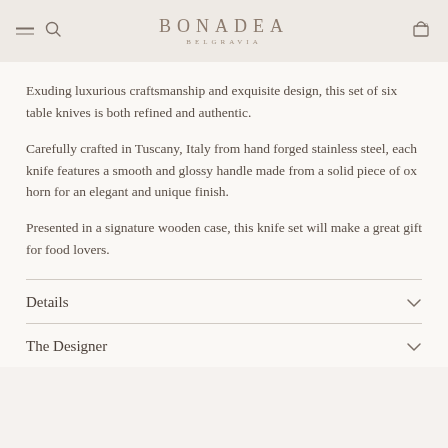BONADEA BELGRAVIA
Exuding luxurious craftsmanship and exquisite design, this set of six table knives is both refined and authentic.
Carefully crafted in Tuscany, Italy from hand forged stainless steel, each knife features a smooth and glossy handle made from a solid piece of ox horn for an elegant and unique finish.
Presented in a signature wooden case, this knife set will make a great gift for food lovers.
Details
The Designer